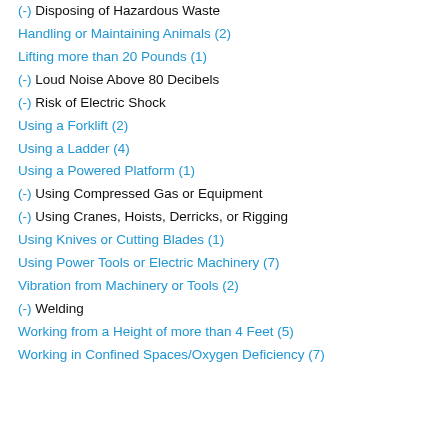(-) Disposing of Hazardous Waste
Handling or Maintaining Animals (2)
Lifting more than 20 Pounds (1)
(-) Loud Noise Above 80 Decibels
(-) Risk of Electric Shock
Using a Forklift (2)
Using a Ladder (4)
Using a Powered Platform (1)
(-) Using Compressed Gas or Equipment
(-) Using Cranes, Hoists, Derricks, or Rigging
Using Knives or Cutting Blades (1)
Using Power Tools or Electric Machinery (7)
Vibration from Machinery or Tools (2)
(-) Welding
Working from a Height of more than 4 Feet (5)
Working in Confined Spaces/Oxygen Deficiency (7)